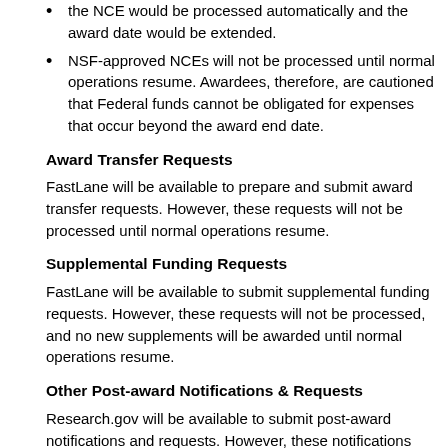the NCE would be processed automatically and the award date would be extended.
NSF-approved NCEs will not be processed until normal operations resume. Awardees, therefore, are cautioned that Federal funds cannot be obligated for expenses that occur beyond the award end date.
Award Transfer Requests
FastLane will be available to prepare and submit award transfer requests. However, these requests will not be processed until normal operations resume.
Supplemental Funding Requests
FastLane will be available to submit supplemental funding requests. However, these requests will not be processed, and no new supplements will be awarded until normal operations resume.
Other Post-award Notifications & Requests
Research.gov will be available to submit post-award notifications and requests. However, these notifications and requests will not be processed until normal operations resume.